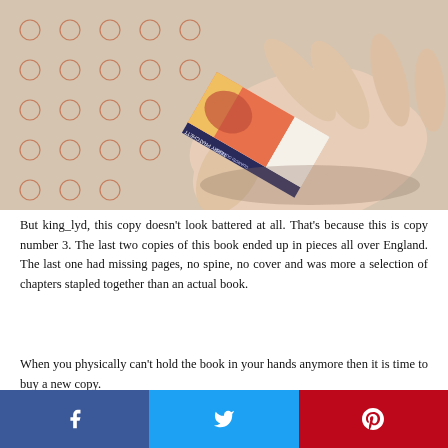[Figure (photo): A hand holding a small paperback book — Terry Pratchett's 'Guards! Guards!' — against a patterned fabric background with red/brown circular dotted designs.]
But king_lyd, this copy doesn't look battered at all. That's because this is copy number 3. The last two copies of this book ended up in pieces all over England. The last one had missing pages, no spine, no cover and was more a selection of chapters stapled together than an actual book.
When you physically can't hold the book in your hands anymore then it is time to buy a new copy.
Facebook | Twitter | Pinterest social share buttons